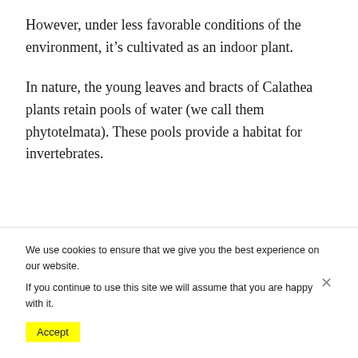However, under less favorable conditions of the environment, it's cultivated as an indoor plant.
In nature, the young leaves and bracts of Calathea plants retain pools of water (we call them phytotelmata). These pools provide a habitat for invertebrates.
We use cookies to ensure that we give you the best experience on our website.
If you continue to use this site we will assume that you are happy with it.
Accept